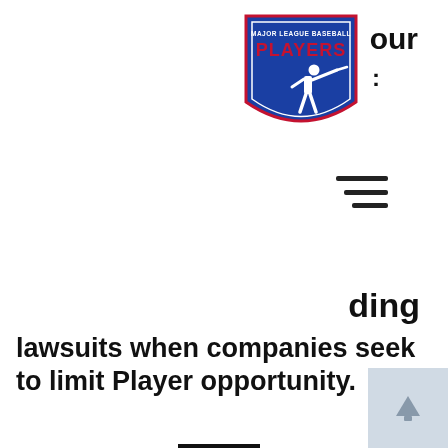[Figure (logo): Major League Baseball Players Association (MLBPA) shield logo with blue background, white batter silhouette, red 'PLAYERS' text]
our
:
[Figure (other): Hamburger/menu icon with three horizontal lines]
ding
lawsuits when companies seek to limit Player opportunity.
[Figure (photo): Circular portrait photo of a man with medium-length dark hair wearing a light blue plaid shirt, against a light gray background]